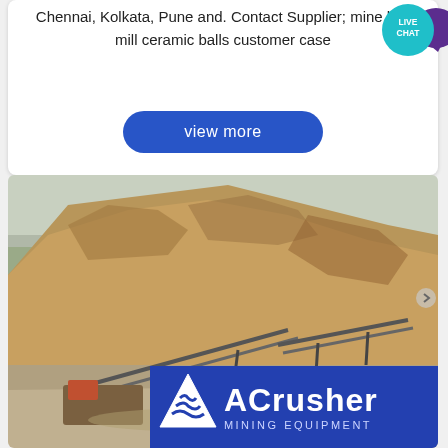Chennai, Kolkata, Pune and. Contact Supplier; mine ball mill ceramic balls customer case
[Figure (other): Live Chat button widget - teal circle with LIVE CHAT text and purple speech bubble tail]
[Figure (other): Blue rounded rectangle button labeled 'view more']
[Figure (photo): Quarry site photograph showing a large rocky hillside with conveyor belts and mining equipment in the foreground, with the ACrusher Mining Equipment logo overlaid at the bottom right]